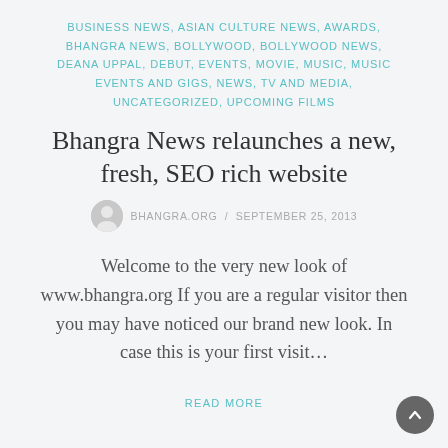BUSINESS NEWS, ASIAN CULTURE NEWS, AWARDS, BHANGRA NEWS, BOLLYWOOD, BOLLYWOOD NEWS, DEANA UPPAL, DEBUT, EVENTS, MOVIE, MUSIC, MUSIC EVENTS AND GIGS, NEWS, TV AND MEDIA, UNCATEGORIZED, UPCOMING FILMS
Bhangra News relaunches a new, fresh, SEO rich website
BHANGRA.ORG / SEPTEMBER 25, 2013
Welcome to the very new look of www.bhangra.org If you are a regular visitor then you may have noticed our brand new look. In case this is your first visit…
READ MORE